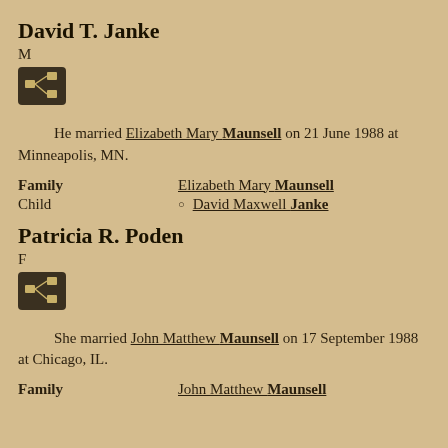David T. Janke
M
[Figure (other): Family tree icon button (dark background with network/tree icon)]
He married Elizabeth Mary Maunsell on 21 June 1988 at Minneapolis, MN.
| Family | Elizabeth Mary Maunsell |
| Child | David Maxwell Janke |
Patricia R. Poden
F
[Figure (other): Family tree icon button (dark background with network/tree icon)]
She married John Matthew Maunsell on 17 September 1988 at Chicago, IL.
| Family | John Matthew Maunsell |